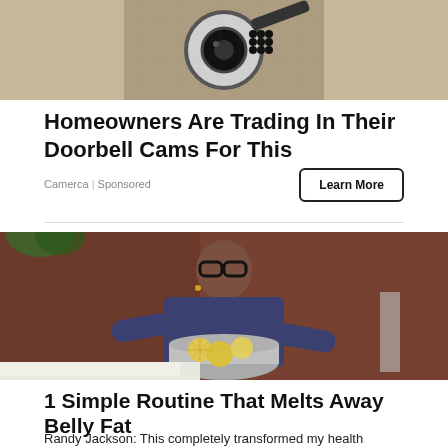[Figure (photo): Security camera mounted in wall, close-up view with camera lens visible and LED lights]
Homeowners Are Trading In Their Doorbell Cams For This
Camerca | Sponsored
[Figure (photo): Randy Jackson holding a pot/pan with lemon slices in liquid, wearing glasses, sitting in a kitchen with brick wall background]
1 Simple Routine That Melts Away Belly Fat
Randy Jackson: This completely transformed my health